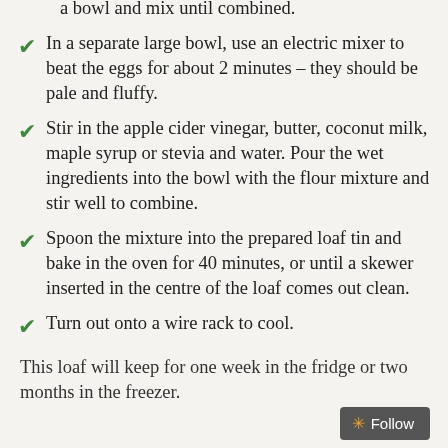a bowl and mix until combined.
In a separate large bowl, use an electric mixer to beat the eggs for about 2 minutes – they should be pale and fluffy.
Stir in the apple cider vinegar, butter, coconut milk, maple syrup or stevia and water. Pour the wet ingredients into the bowl with the flour mixture and stir well to combine.
Spoon the mixture into the prepared loaf tin and bake in the oven for 40 minutes, or until a skewer inserted in the centre of the loaf comes out clean.
Turn out onto a wire rack to cool.
This loaf will keep for one week in the fridge or two months in the freezer.